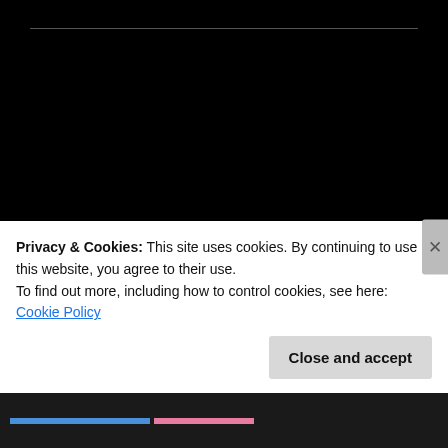[Figure (illustration): User avatar: circular orange and white quilted/geometric pattern icon for user Elthon]
Elthon
JULY 27, 2017 AT 10:14 AM
And shared!
Privacy & Cookies: This site uses cookies. By continuing to use this website, you agree to their use.
To find out more, including how to control cookies, see here: Cookie Policy
Close and accept